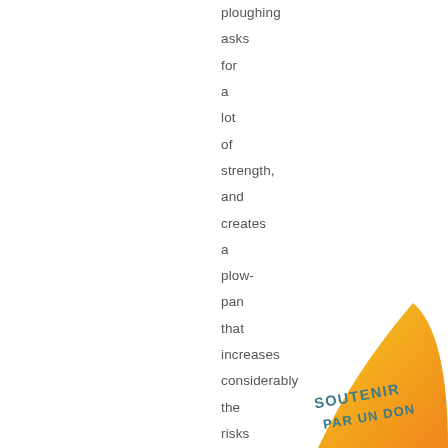ploughing asks for a lot of strength, and creates a plow-pan that increases considerably the risks of erosion, especially in the sensitive lands. So based on
[Figure (illustration): A yellow-orange leaf or flame shape in the bottom-right corner with the text 'SOUTENIR PAR UN DON' written in teal/blue stylized font]